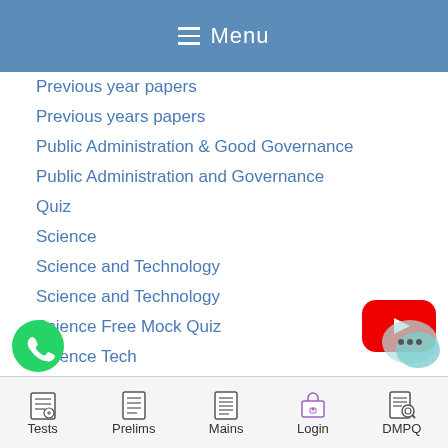Menu
Previous year papers
Previous years papers
Public Administration & Good Governance
Public Administration and Governance
Quiz
Science
Science and Technology
Science and Technology
Science Free Mock Quiz
Science Tech
ience Tech
[Figure (logo): YouTube play button red icon]
[Figure (logo): WhatsApp green phone icon]
[Figure (logo): Chat bubble icon]
Tests   Prelims   Mains   Login   DMPQ